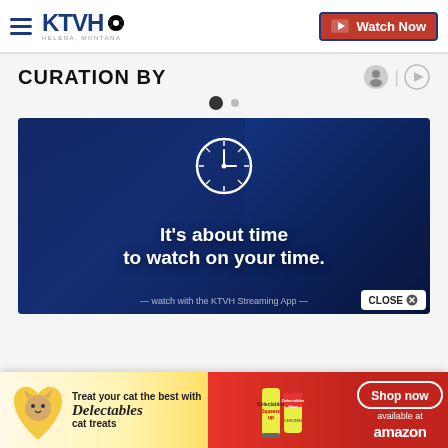KTVH – Helena, Montana | Watch Now
CURATION BY
[Figure (screenshot): Video card with dark blue background, clock icon, and text: It's about time to watch on your time.]
[Figure (other): Advertisement banner: Treat your cat the best with Delectables cat treats – Shop now, available at amazon]